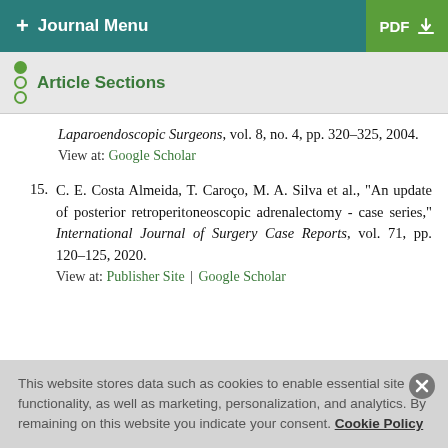+ Journal Menu  |  PDF ↓
Article Sections
Laparoendoscopic Surgeons, vol. 8, no. 4, pp. 320–325, 2004. View at: Google Scholar
15. C. E. Costa Almeida, T. Caroço, M. A. Silva et al., "An update of posterior retroperitoneoscopic adrenalectomy - case series," International Journal of Surgery Case Reports, vol. 71, pp. 120–125, 2020. View at: Publisher Site | Google Scholar
This website stores data such as cookies to enable essential site functionality, as well as marketing, personalization, and analytics. By remaining on this website you indicate your consent. Cookie Policy